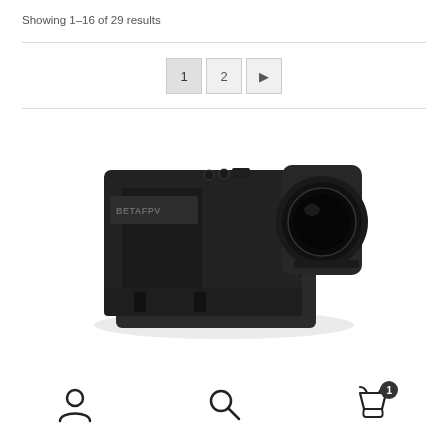Showing 1–16 of 29 results
[Figure (photo): A black BETAFPV camera housing/frame with a circular lens mount on the right side, viewed from a slight angle. Below the camera frame is a small green circuit board with white connectors.]
Pagination: 1 2 → | User icon | Search icon | Cart icon with badge 1